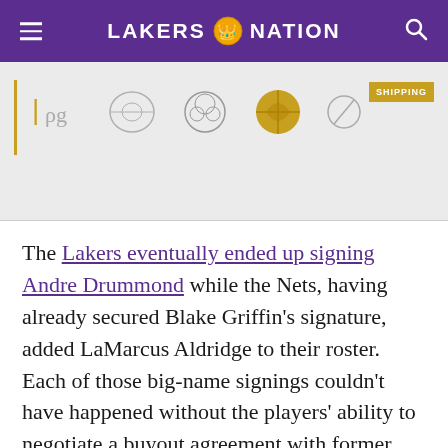LAKERS NATION
[Figure (photo): Advertisement banner with gold line, outline shapes, a gold basketball-like object, and a yellow SHIPPING button on grey background]
The Lakers eventually ended up signing Andre Drummond while the Nets, having already secured Blake Griffin's signature, added LaMarcus Aldridge to their roster. Each of those big-name signings couldn't have happened without the players' ability to negotiate a buyout agreement with former employers — which then allows them to join a championship team for a fraction of the salary they